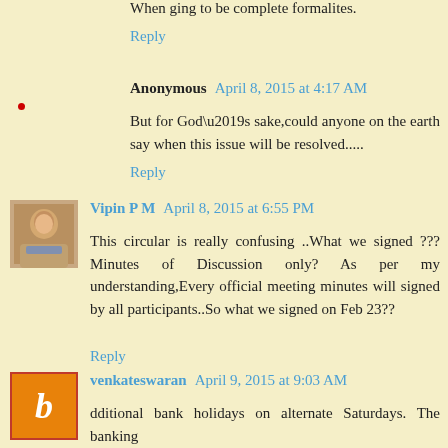When ging to be complete formalites.
Reply
Anonymous  April 8, 2015 at 4:17 AM
But for God’s sake,could anyone on the earth say when this issue will be resolved.....
Reply
Vipin P M  April 8, 2015 at 6:55 PM
This circular is really confusing ..What we signed ??? Minutes of Discussion only? As per my understanding,Every official meeting minutes will signed by all participants..So what we signed on Feb 23??
Reply
venkateswaran  April 9, 2015 at 9:03 AM
dditional bank holidays on alternate Saturdays. The banking